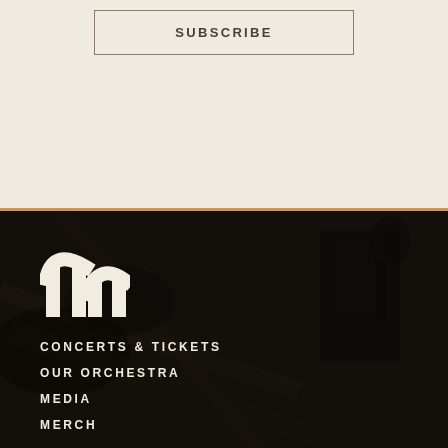SUBSCRIBE
[Figure (photo): Dark background photo of orchestra musicians playing string instruments, with a music stand visible]
[Figure (logo): White architectural arch/bridge logo mark (double arch resembling letter M or Brooklyn Bridge silhouette)]
CONCERTS & TICKETS
OUR ORCHESTRA
MEDIA
MERCH